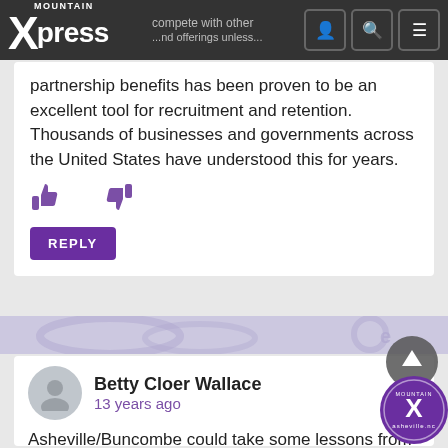Mountain Xpress
partnership benefits has been proven to be an excellent tool for recruitment and retention. Thousands of businesses and governments across the United States have understood this for years.
[Figure (infographic): Thumbs up and thumbs down icons in purple for voting on comment]
REPLY
[Figure (infographic): Decorative ad/banner strip with Mountain Xpress watermark pattern]
Betty Cloer Wallace
13 years ago
Asheville/Buncombe could take some lessons from New Orleans, a city that has historically recovered, over and over, from all sorts of devastation. New Orleans has done it by being INCLUSIVE of everyone regardless of race, gender, ethnicity, or cultural heritage—not by having small